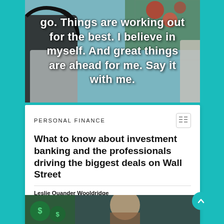[Figure (photo): Photo of a person with overlaid inspirational text: 'go. Things are working out for the best. I believe in myself. And great things are ahead for me. Say it with me.']
PERSONAL FINANCE
What to know about investment banking and the professionals driving the biggest deals on Wall Street
Leslie Quander Wooldridge
[Figure (photo): Bottom strip showing a partial photo related to investment banking, with dollar sign graphics visible]